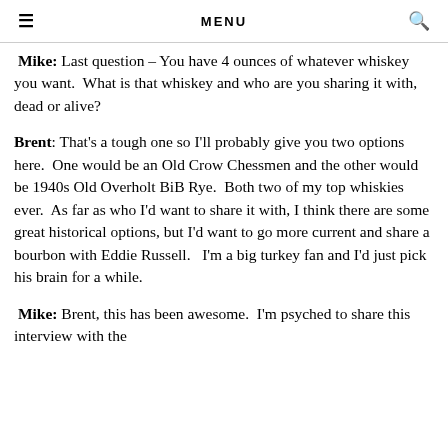MENU
Mike: Last question – You have 4 ounces of whatever whiskey you want.  What is that whiskey and who are you sharing it with, dead or alive?
Brent: That's a tough one so I'll probably give you two options here.  One would be an Old Crow Chessmen and the other would be 1940s Old Overholt BiB Rye.  Both two of my top whiskies ever.  As far as who I'd want to share it with, I think there are some great historical options, but I'd want to go more current and share a bourbon with Eddie Russell.   I'm a big turkey fan and I'd just pick his brain for a while.
Mike: Brent, this has been awesome.  I'm psyched to share this interview with the